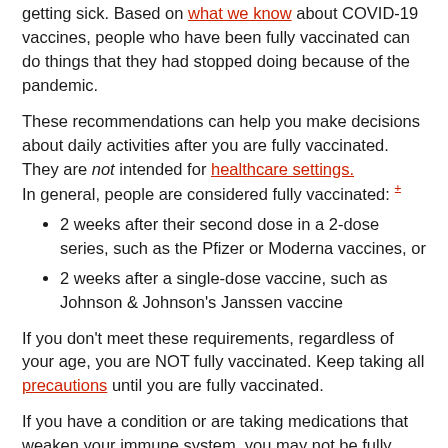getting sick. Based on what we know about COVID-19 vaccines, people who have been fully vaccinated can do things that they had stopped doing because of the pandemic.
These recommendations can help you make decisions about daily activities after you are fully vaccinated. They are not intended for healthcare settings. In general, people are considered fully vaccinated: ±
2 weeks after their second dose in a 2-dose series, such as the Pfizer or Moderna vaccines, or
2 weeks after a single-dose vaccine, such as Johnson & Johnson's Janssen vaccine
If you don't meet these requirements, regardless of your age, you are NOT fully vaccinated. Keep taking all precautions until you are fully vaccinated.
If you have a condition or are taking medications that weaken your immune system, you may not be fully protected even if you are fully vaccinated and have